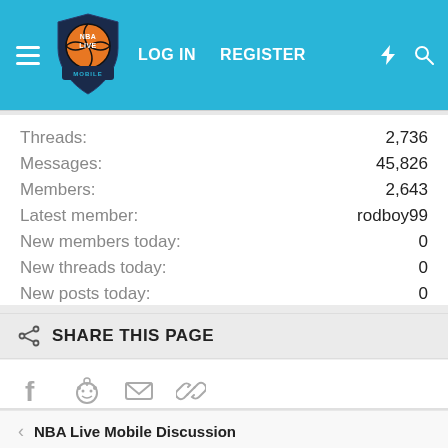[Figure (screenshot): NBA Live Mobile forum website header with cyan/blue background, hamburger menu, NBA Live Mobile logo, LOG IN and REGISTER navigation links, lightning bolt icon, and search icon]
| Label | Value |
| --- | --- |
| Threads: | 2,736 |
| Messages: | 45,826 |
| Members: | 2,643 |
| Latest member: | rodboy99 |
| New members today: | 0 |
| New threads today: | 0 |
| New posts today: | 0 |
SHARE THIS PAGE
[Figure (illustration): Social share icons: Facebook, Reddit, Email, Link/chain]
NBA Live Mobile Discussion